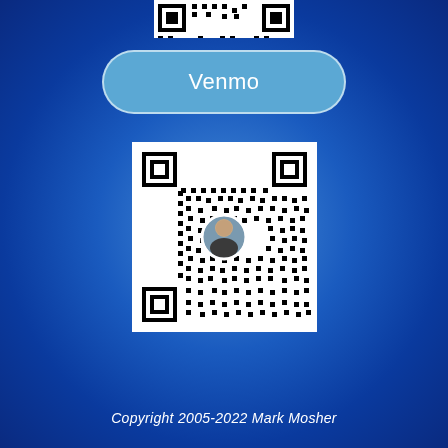[Figure (other): Partial QR code visible at top of page (cropped)]
Venmo
[Figure (other): Venmo QR code with profile photo of Mark Mosher in the center]
Copyright 2005-2022 Mark Mosher